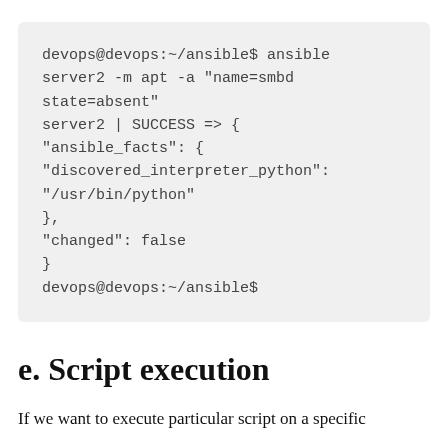[Figure (screenshot): Terminal code block showing ansible command output: devops@devops:~/ansible$ ansible server2 -m apt -a "name=smbd state=absent", server2 | SUCCESS => { "ansible_facts": { "discovered_interpreter_python": "/usr/bin/python" }, "changed": false } devops@devops:~/ansible$]
e. Script execution
If we want to execute particular script on a specific